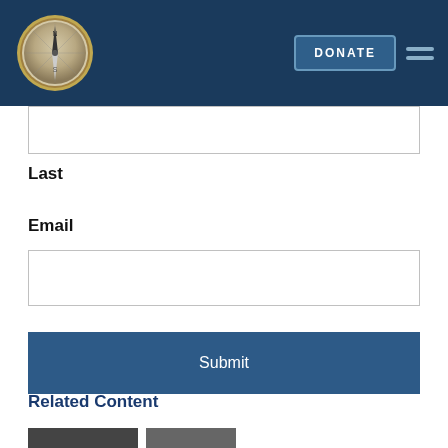[Figure (logo): Compass logo on dark navy header bar with DONATE button and hamburger menu icon]
Last
Email
Submit
Related Content